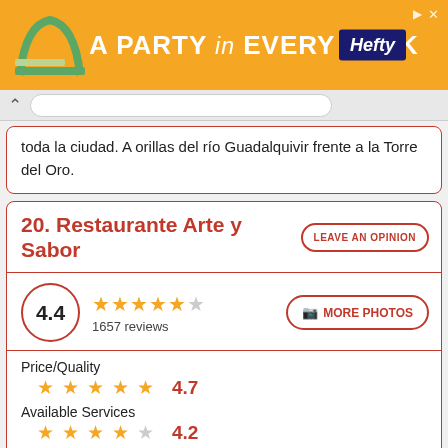[Figure (other): Hefty brand advertisement banner: orange background with text 'A PARTY in EVERY PACK' and Hefty logo in dark blue]
toda la ciudad. A orillas del río Guadalquivir frente a la Torre del Oro.
20. Restaurante Arte y Sabor
LEAVE AN OPINION
4.4
1657 reviews
MORE PHOTOS
Price/Quality
4.7
Available Services
4.2
Location